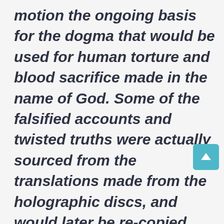motion the ongoing basis for the dogma that would be used for human torture and blood sacrifice made in the name of God. Some of the falsified accounts and twisted truths were actually sourced from the translations made from the holographic discs, and would later be re-copied and written into several manuscripts and into several different languages. The manuscripts that were in possession of the Church, were embellished with an assortment of falsities, biases, and